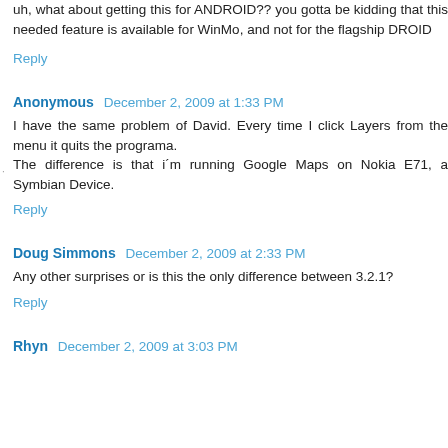uh, what about getting this for ANDROID?? you gotta be kidding that this needed feature is available for WinMo, and not for the flagship DROID
Reply
Anonymous  December 2, 2009 at 1:33 PM
I have the same problem of David. Every time I click Layers from the menu it quits the programa.
The difference is that i´m running Google Maps on Nokia E71, a Symbian Device.
Reply
Doug Simmons  December 2, 2009 at 2:33 PM
Any other surprises or is this the only difference between 3.2.1?
Reply
Rhyn  December 2, 2009 at 3:03 PM